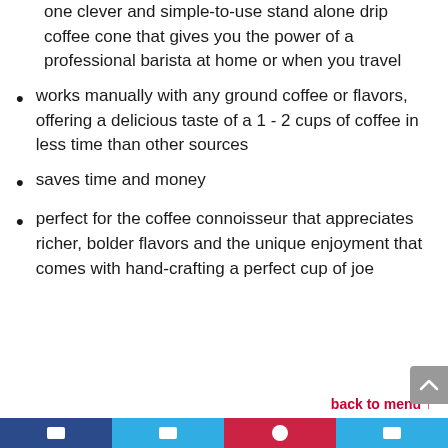one clever and simple-to-use stand alone drip coffee cone that gives you the power of a professional barista at home or when you travel
works manually with any ground coffee or flavors, offering a delicious taste of a 1 - 2 cups of coffee in less time than other sources
saves time and money
perfect for the coffee connoisseur that appreciates richer, bolder flavors and the unique enjoyment that comes with hand-crafting a perfect cup of joe
back to menu ↑